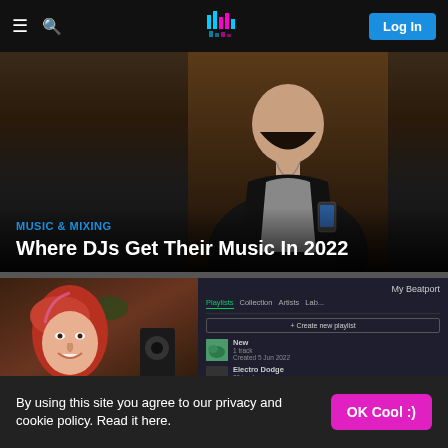Navigation bar with hamburger menu, search icon, logo, and Log In button
[Figure (photo): Dark photo of a young man in a black hoodie holding a phone, with warm background lighting]
MUSIC & MIXING
Where DJs Get Their Music In 2022
[Figure (screenshot): Screenshot showing a woman with red hair on the left and a Beatport playlist interface on the right, showing My Beatport with Playlists, Collection, Artists, Labels tabs and playlist items including 'New' and 'Electro Dodge']
By using this site you agree to our privacy and cookie policy. Read it here.